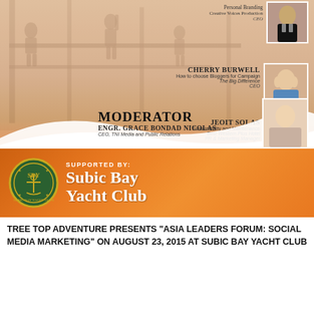[Figure (infographic): Event promotional flyer for Asia Leaders Forum Social Media Marketing event at Subic Bay Yacht Club, featuring speaker profiles with names and topics, moderator section, and Subic Bay Yacht Club logo]
CHERRY BURWELL
How to choose bloggers for Campaign
The Big Difference
CEO
JEOIT SOLAS
Sustainability and Maintenance
Best Western Plus Hotel
PR & Marketing Manager
JAMES JIMENEZ
Responsible Social Media
COMELEC Spokesman
MODERATOR
ENGR. GRACE BONDAD NICOLAS
CEO, TNI Media and Public Relations
SUPPORTED BY:
SUBIC BAY YACHT CLUB
TREE TOP ADVENTURE PRESENTS "ASIA LEADERS FORUM: SOCIAL MEDIA MARKETING" ON AUGUST 23, 2015 AT SUBIC BAY YACHT CLUB